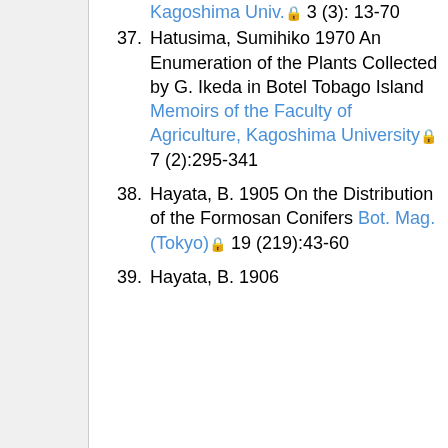(continuation) Kagoshima Univ. 🔒 3 (3): 13-70
37. Hatusima, Sumihiko 1970 An Enumeration of the Plants Collected by G. Ikeda in Botel Tobago Island Memoirs of the Faculty of Agriculture, Kagoshima University 🔒 7 (2):295-341
38. Hayata, B. 1905 On the Distribution of the Formosan Conifers Bot. Mag. (Tokyo) 🔒 19 (219):43-60
39. Hayata, B. 1906